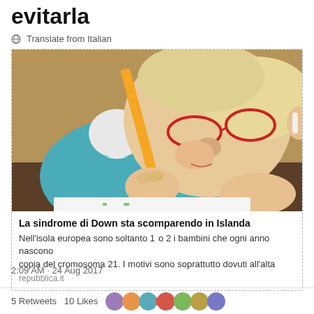evitarla
Translate from Italian
[Figure (photo): Close-up photo of a young child with Down syndrome wearing red glasses and a teal sweater, holding an orange pencil and writing on paper.]
La sindrome di Down sta scomparendo in Islanda
Nell'isola europea sono soltanto 1 o 2 i bambini che ogni anno nascono con una copia del cromosoma 21. I motivi sono soprattutto dovuti all'alta
repubblica.it
2:09 AM · 24 Aug 2017